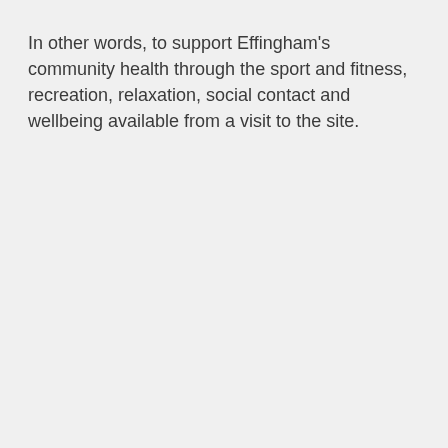In other words, to support Effingham's community health through the sport and fitness, recreation, relaxation, social contact and wellbeing available from a visit to the site.